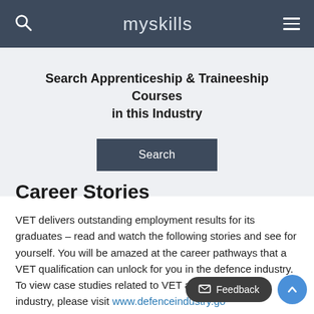myskills
Search Apprenticeship & Traineeship Courses in this Industry
Career Stories
VET delivers outstanding employment results for its graduates – read and watch the following stories and see for yourself. You will be amazed at the career pathways that a VET qualification can unlock for you in the defence industry. To view case studies related to VET and the Defence industry, please visit www.defenceindustry.go...